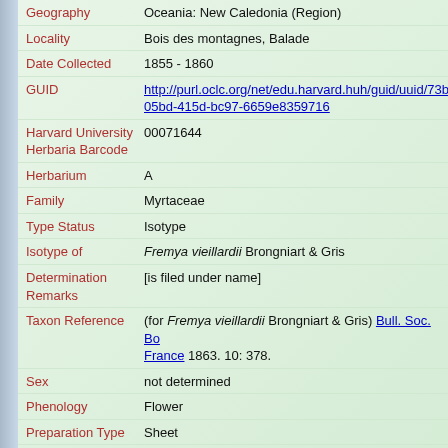| Field | Value |
| --- | --- |
| Geography | Oceania: New Caledonia (Region) |
| Locality | Bois des montagnes, Balade |
| Date Collected | 1855 - 1860 |
| GUID | http://purl.oclc.org/net/edu.harvard.huh/guid/uuid/73b05bd-415d-bc97-6659e8359716 |
| Harvard University Herbaria Barcode | 00071644 |
| Herbarium | A |
| Family | Myrtaceae |
| Type Status | Isotype |
| Isotype of | Fremya vieillardii Brongniart & Gris |
| Determination Remarks | [is filed under name] |
| Taxon Reference | (for Fremya vieillardii Brongniart & Gris) Bull. Soc. Bot. France 1863. 10: 378. |
| Sex | not determined |
| Phenology | Flower |
| Preparation Type | Sheet |